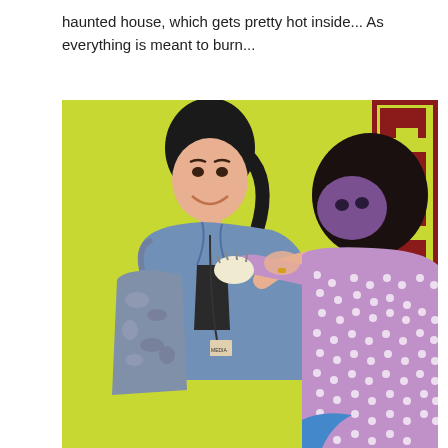haunted house, which gets pretty hot inside... As everything is meant to burn...
[Figure (photo): A smiling woman in a denim jacket holding a camouflage bag shakes hands or fist-bumps with a costumed character in a purple-patterned outfit against a yellow-green wall. The character appears to be a mascot or puppet figure with a dark rounded head.]